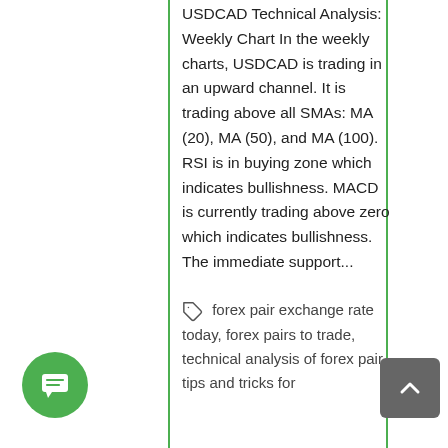USDCAD Technical Analysis: Weekly Chart In the weekly charts, USDCAD is trading in an upward channel. It is trading above all SMAs: MA (20), MA (50), and MA (100). RSI is in buying zone which indicates bullishness. MACD is currently trading above zero which indicates bullishness. The immediate support...
forex pair exchange rate today, forex pairs to trade, technical analysis of forex pair, tips and tricks for